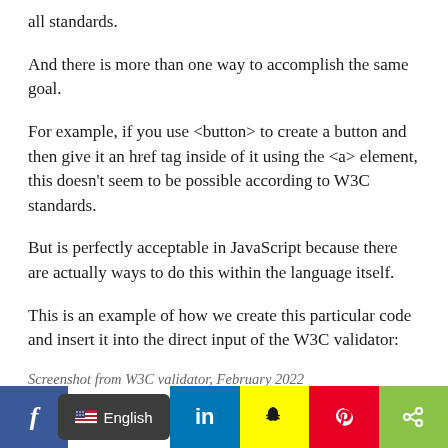all standards.
And there is more than one way to accomplish the same goal.
For example, if you use <button> to create a button and then give it an href tag inside of it using the <a> element, this doesn't seem to be possible according to W3C standards.
But is perfectly acceptable in JavaScript because there are actually ways to do this within the language itself.
This is an example of how we create this particular code and insert it into the direct input of the W3C validator:
Screenshot from W3C validator, February 2022
[Figure (infographic): Social media sharing bar with Facebook, English language selector, LinkedIn, Snapchat, Pinterest, and share buttons]